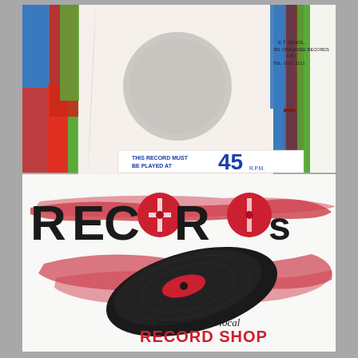[Figure (photo): Top half: Colorful vinyl record sleeve with bold color bands in red, blue, green, brown/maroon on white background. Text reads 'E.T. SENOL, 391 CHAUSSEE RECORDS A.B.I, TEL: GLA. 2111' in upper right, and 'THIS RECORD MUST BE PLAYED AT 45 R.P.M.' printed in blue on a white strip at the bottom of the sleeve. Bottom half: White record sleeve/bag with large bold black text 'RECORDS' with the two 'O' letters styled as vinyl records in red. A large red paintbrush-stroke swoosh behind the text. Below, an illustration of a black vinyl record with a red center label, also with a red swoosh brush stroke behind it. Text at bottom reads 'from your own local' in black script-style, and 'RECORD SHOP' in large bold red capitals.]